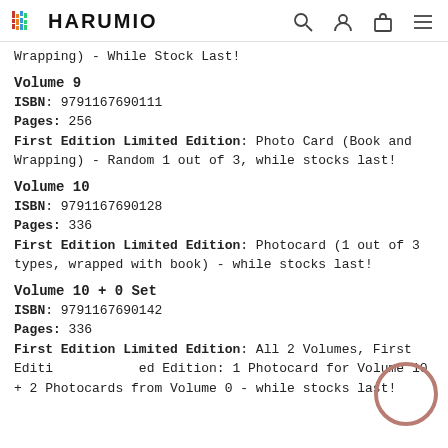HARUMIO
Wrapping) - While Stock Last!
Volume 9
ISBN: 9791167690111
Pages: 256
First Edition Limited Edition: Photo Card (Book and Wrapping) - Random 1 out of 3, while stocks last!
Volume 10
ISBN: 9791167690128
Pages: 336
First Edition Limited Edition: Photocard (1 out of 3 types, wrapped with book) - while stocks last!
Volume 10 + 0 Set
ISBN: 9791167690142
Pages: 336
First Edition Limited Edition: All 2 Volumes, First Edition Limited Edition: 1 Photocard for Volume 10 + 2 Photocards from Volume 0 - while stocks last!